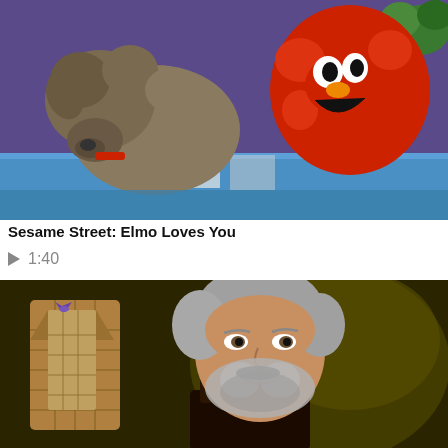[Figure (photo): Video thumbnail showing Elmo (red Sesame Street muppet) next to a small animal, with a person in purple shirt visible in background on a colorful set]
Sesame Street: Elmo Loves You
▶ 1:40
[Figure (photo): Video thumbnail showing a middle-aged man with gray beard and hair smiling at camera, with a costume/outfit displayed on a mannequin in the background on a dark background]